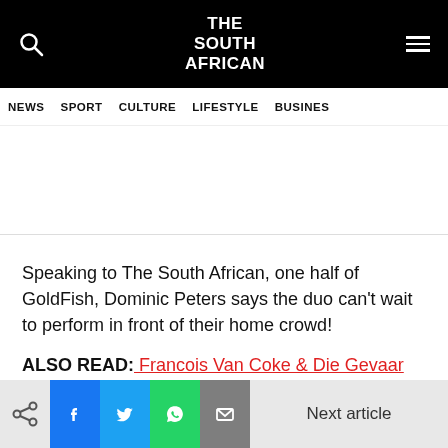THE SOUTH AFRICAN
NEWS  SPORT  CULTURE  LIFESTYLE  BUSINESS
Speaking to The South African, one half of GoldFish, Dominic Peters says the duo can't wait to perform in front of their home crowd!
ALSO READ: Francois Van Coke & Die Gevaar
Next article